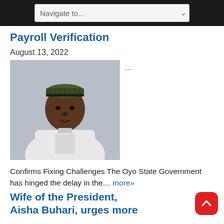Navigate to...
Payroll Verification
August 13, 2022
[Figure (photo): Portrait photo of a Nigerian man wearing a traditional embroidered white agbada outfit and a green/black embroidered cap, against a grey background.]
Confirms Fixing Challenges The Oyo State Government has hinged the delay in the... more»
Wife of the President, Aisha Buhari, urges more